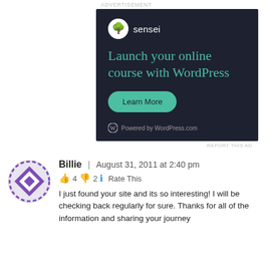ADVERTISEMENT
[Figure (illustration): Sensei advertisement banner with dark background. Shows Sensei logo (tree icon in circle), headline 'Launch your online course with WordPress' in teal, a 'Learn More' teal rounded button, and 'Powered by WordPress.com' footer text.]
REPORT THIS AD
Billie | August 31, 2011 at 2:40 pm
👍 4 👎 2 ℹ Rate This
I just found your site and its so interesting! I will be checking back regularly for sure. Thanks for all of the information and sharing your journey